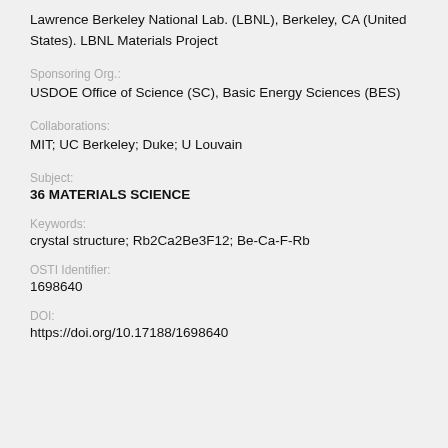Lawrence Berkeley National Lab. (LBNL), Berkeley, CA (United States). LBNL Materials Project
Sponsoring Org.:
USDOE Office of Science (SC), Basic Energy Sciences (BES)
Collaborations:
MIT; UC Berkeley; Duke; U Louvain
Subject:
36 MATERIALS SCIENCE
Keywords:
crystal structure; Rb2Ca2Be3F12; Be-Ca-F-Rb
OSTI Identifier:
1698640
DOI:
https://doi.org/10.17188/1698640